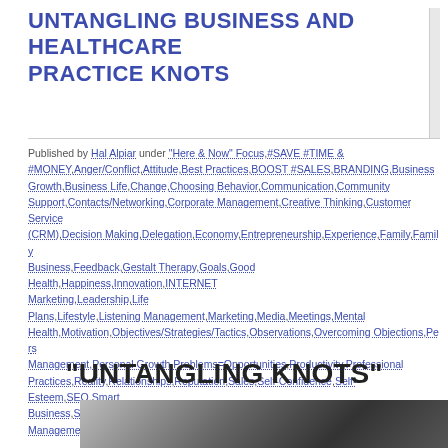UNTANGLING BUSINESS AND HEALTHCARE PRACTICE KNOTS
Published by Hal Alpiar under "Here & Now" Focus,#SAVE #TIME & #MONEY,Anger/Conflict,Attitude,Best Practices,BOOST #SALES,BRANDING,Business Growth,Business Life,Change,Choosing Behavior,Communication,Community Support,Contacts/Networking,Corporate Management,Creative Thinking,Customer Service (CRM),Decision Making,Delegation,Economy,Entrepreneurship,Experience,Family,Family Business,Feedback,Gestalt Therapy,Goals,Good Health,Happiness,Innovation,INTERNET Marketing,Leadership,Life Plans,Lifestyle,Listening Management,Marketing,Media,Meetings,Mental Health,Motivation,Objectives/Strategies/Tactics,Observations,Overcoming Objections,People Management,Personal Growth,Problems=Opportunities,Productivity,Professional Practices,Reality,Relationships,Reputation,Sales,Self-Confidence,Self-Esteem,SEO Smart Business,Social Media,Social Media,Strategic Planning Strategies,Stress Management,Tactics,Teamwork,Time Management
“UNTANGLING KNOTS”
[Figure (photo): Close-up photo of tangled white earphone/headphone cables held in hands]